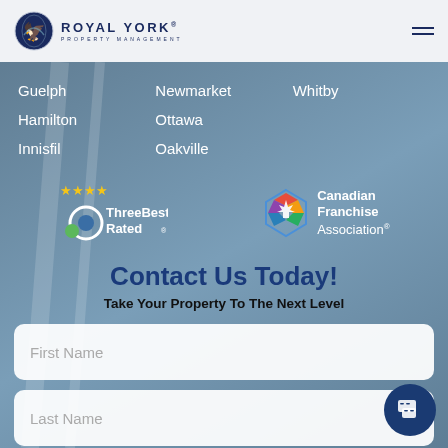Royal York Property Management
Guelph
Newmarket
Whitby
Hamilton
Ottawa
Innisfil
Oakville
[Figure (logo): ThreeBest Rated badge with 4 gold stars and green circle icon]
[Figure (logo): Canadian Franchise Association logo with colorful maple leaf]
Contact Us Today!
Take Your Property To The Next Level
First Name
Last Name